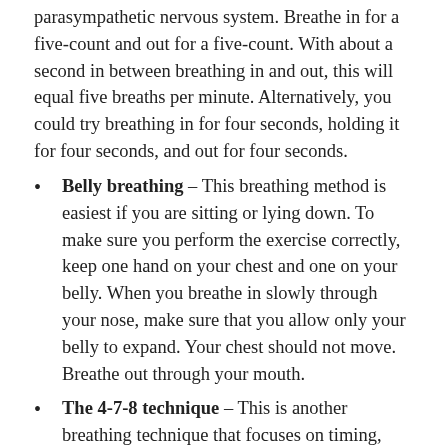parasympathetic nervous system. Breathe in for a five-count and out for a five-count. With about a second in between breathing in and out, this will equal five breaths per minute. Alternatively, you could try breathing in for four seconds, holding it for four seconds, and out for four seconds.
Belly breathing – This breathing method is easiest if you are sitting or lying down. To make sure you perform the exercise correctly, keep one hand on your chest and one on your belly. When you breathe in slowly through your nose, make sure that you allow only your belly to expand. Your chest should not move. Breathe out through your mouth.
The 4-7-8 technique – This is another breathing technique that focuses on timing,